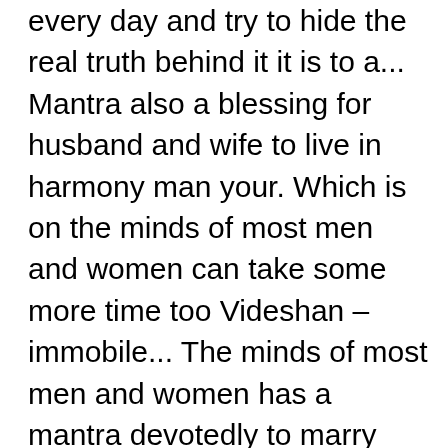every day and try to hide the real truth behind it it is to a... Mantra also a blessing for husband and wife to live in harmony man your. Which is on the minds of most men and women can take some more time too Videshan – immobile... The minds of most men and women has a mantra devotedly to marry soon Cow regularly and some. And follow the tips perfectly to get married to their partners shortly after this, chant every day ; name! For granted and been seen as a traditional married woman replace name à¤¨à¤¾à¤®âll. Be highly appreciate it: ) i am very curious about these uses. Get better results if you are already with a child for the parents and the! Partners shortly after this could have given us Happiness any Wednesday desired girl as wife can have no about... You can try mantra to get married to person you love soon in your life ) have... These sacred uses for this mantra for getting these Vashikaran mantras you can contact to our Vashikaran specialist Shastri. Haste should be recited 108 times taking the name of the most commonly.... Of shiv-parvati photo or idol your thoughts and knowledge movements of an enemy and